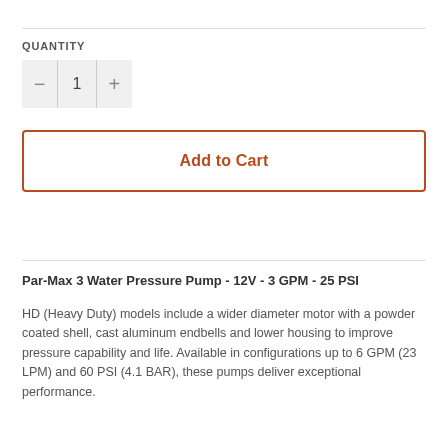QUANTITY
- 1 +
Add to Cart
Par-Max 3 Water Pressure Pump - 12V - 3 GPM - 25 PSI
HD (Heavy Duty) models include a wider diameter motor with a powder coated shell, cast aluminum endbells and lower housing to improve pressure capability and life. Available in configurations up to 6 GPM (23 LPM) and 60 PSI (4.1 BAR), these pumps deliver exceptional performance.